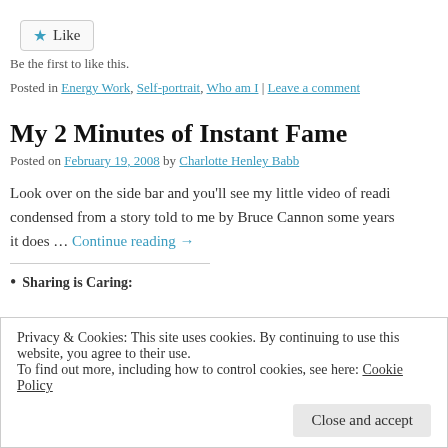[Figure (other): Like button with star icon]
Be the first to like this.
Posted in Energy Work, Self-portrait, Who am I | Leave a comment
My 2 Minutes of Instant Fame
Posted on February 19, 2008 by Charlotte Henley Babb
Look over on the side bar and you'll see my little video of readi condensed from a story told to me by Bruce Cannon some years it does … Continue reading →
Sharing is Caring:
Privacy & Cookies: This site uses cookies. By continuing to use this website, you agree to their use.
To find out more, including how to control cookies, see here: Cookie Policy